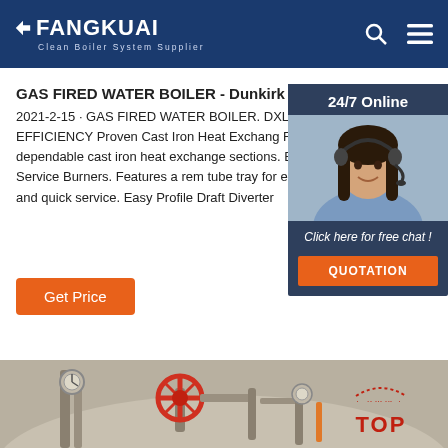FANGKUAI - Clean Boiler System Supplier
GAS FIRED WATER BOILER - Dunkirk
2021-2-15 · GAS FIRED WATER BOILER. DXL-K . C AFUE EFFICIENCY Proven Cast Iron Heat Exchang Features a dependable cast iron heat exchange sections. Easy to Service Burners. Features a rem tube tray for easy access and quick service. Easy Profile Draft Diverter
Get Price
[Figure (photo): Customer service representative with headset, 24/7 Online chat widget with QUOTATION button]
[Figure (photo): Gas fired water boiler pipes and valves, industrial equipment closeup with red valve wheel and gauges. TOP badge visible.]